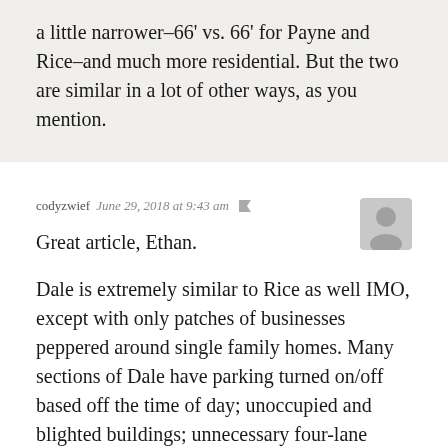a little narrower–66' vs. 66' for Payne and Rice–and much more residential. But the two are similar in a lot of other ways, as you mention.
codyzwief  June 29, 2018 at 9:43 am
Great article, Ethan.

Dale is extremely similar to Rice as well IMO, except with only patches of businesses peppered around single family homes. Many sections of Dale have parking turned on/off based off the time of day; unoccupied and blighted buildings; unnecessary four-lane thoroughfare that kills the environment on the street. Dale, just like Rice, needs a road